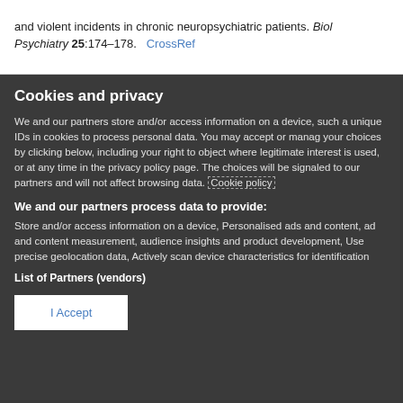and violent incidents in chronic neuropsychiatric patients. Biol Psychiatry 25:174–178.   CrossRef
Cookies and privacy
We and our partners store and/or access information on a device, such as unique IDs in cookies to process personal data. You may accept or manage your choices by clicking below, including your right to object where legitimate interest is used, or at any time in the privacy policy page. These choices will be signaled to our partners and will not affect browsing data. Cookie policy
We and our partners process data to provide:
Store and/or access information on a device, Personalised ads and content, ad and content measurement, audience insights and product development, Use precise geolocation data, Actively scan device characteristics for identification
List of Partners (vendors)
I Accept